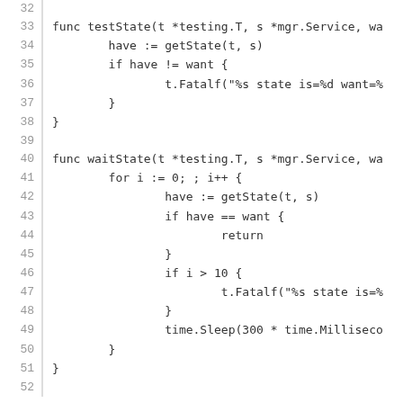[Figure (other): Source code listing in Go showing functions testState and waitState, lines 32-52]